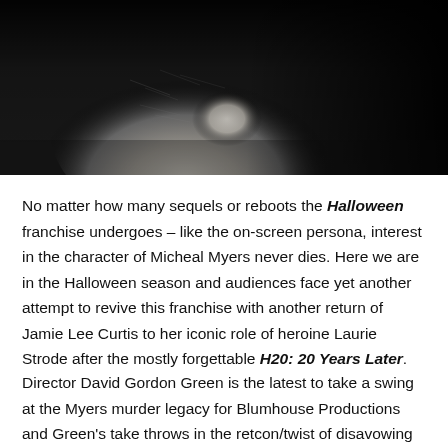[Figure (photo): Black and white close-up photo of a pale, textured horror movie mask (Michael Myers) partially in shadow against a dark background]
No matter how many sequels or reboots the Halloween franchise undergoes – like the on-screen persona, interest in the character of Micheal Myers never dies. Here we are in the Halloween season and audiences face yet another attempt to revive this franchise with another return of Jamie Lee Curtis to her iconic role of heroine Laurie Strode after the mostly forgettable H20: 20 Years Later.
Director David Gordon Green is the latest to take a swing at the Myers murder legacy for Blumhouse Productions and Green's take throws in the retcon/twist of disavowing all of the other Halloween sequels apparently to start a...